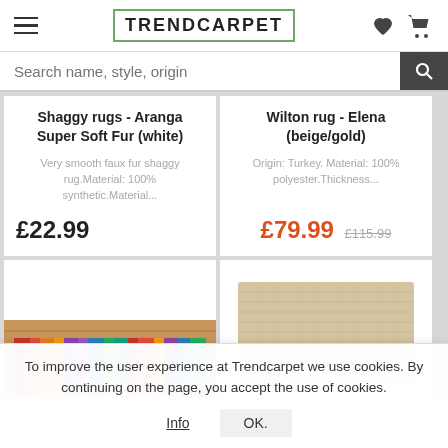TRENDCARPET
Search name, style, origin
Shaggy rugs - Aranga Super Soft Fur (white)
Very smooth faux fur shaggy rug.Material: 100% synthetic.Material...
£22.99
Wilton rug - Elena (beige/gold)
Origin: Turkey. Material: 100% polyester.Thickness...
£79.99  £115.99
[Figure (photo): Colorful striped flat rug on wooden floor]
[Figure (photo): Natural beige/jute textured rug]
To improve the user experience at Trendcarpet we use cookies. By continuing on the page, you accept the use of cookies.